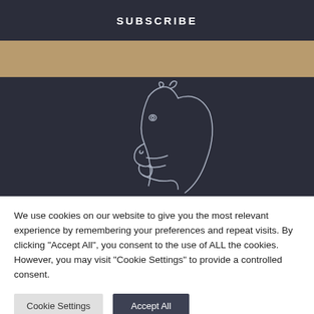SUBSCRIBE
[Figure (illustration): Line art illustration of a horse head on dark navy background]
We use cookies on our website to give you the most relevant experience by remembering your preferences and repeat visits. By clicking "Accept All", you consent to the use of ALL the cookies. However, you may visit "Cookie Settings" to provide a controlled consent.
Cookie Settings
Accept All